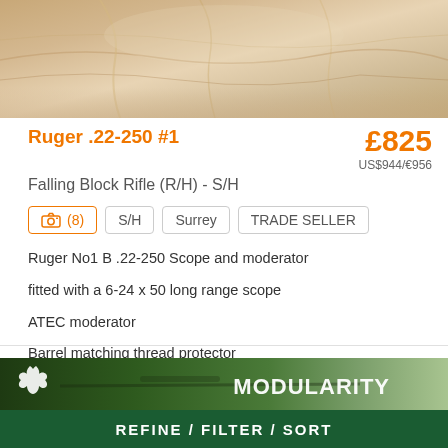[Figure (photo): Close-up photo of deer/animal fur texture in tan and beige tones]
Ruger .22-250 #1
£825
US$944/€956
Falling Block Rifle (R/H) - S/H
(8)  S/H  Surrey  TRADE SELLER
Ruger No1 B .22-250 Scope and moderator
fitted with a 6-24 x 50 long range scope
ATEC moderator
Barrel matching thread protector
[Figure (photo): Advertisement banner showing a rifle with scope in a field setting, Browning logo visible, text reads MODULARITY]
REFINE / FILTER / SORT